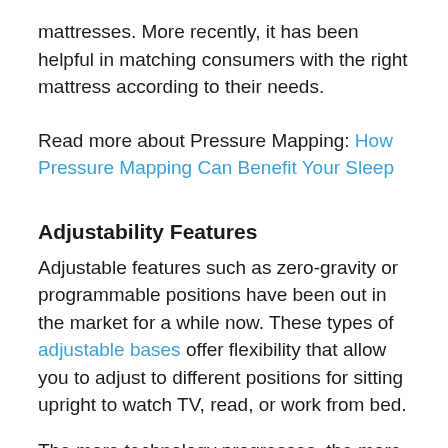mattresses. More recently, it has been helpful in matching consumers with the right mattress according to their needs.
Read more about Pressure Mapping: How Pressure Mapping Can Benefit Your Sleep
Adjustability Features
Adjustable features such as zero-gravity or programmable positions have been out in the market for a while now. These types of adjustable bases offer flexibility that allow you to adjust to different positions for sitting upright to watch TV, read, or work from bed.
The more technology progresses, the more